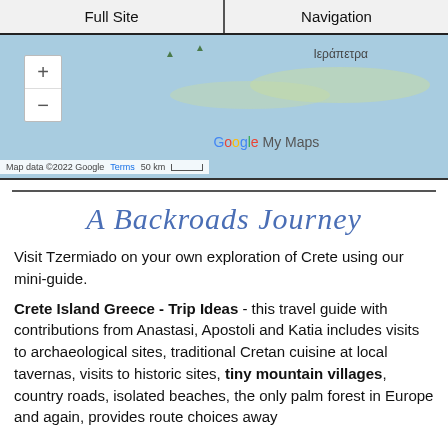Full Site | Navigation
[Figure (map): Google My Maps screenshot showing a map of Crete, Greece with zoom controls, the label Ιεράπετρα, Google My Maps logo, and map data footer showing Map data ©2022 Google, Terms, 50 km scale bar.]
A Backroads Journey
Visit Tzermiado on your own exploration of Crete using our mini-guide.
Crete Island Greece - Trip Ideas - this travel guide with contributions from Anastasi, Apostoli and Katia includes visits to archaeological sites, traditional Cretan cuisine at local tavernas, visits to historic sites, tiny mountain villages, country roads, isolated beaches, the only palm forest in Europe and again, provides route choices away